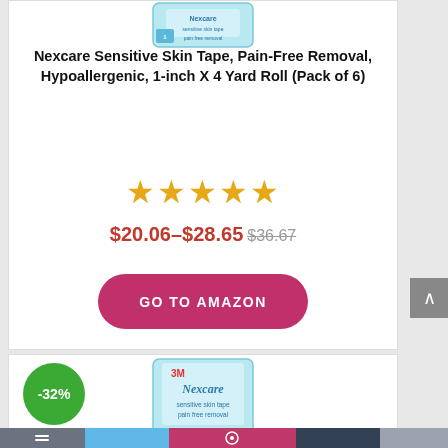[Figure (photo): Nexcare sensitive skin tape product image (partial, top of card)]
Nexcare Sensitive Skin Tape, Pain-Free Removal, Hypoallergenic, 1-inch X 4 Yard Roll (Pack of 6)
[Figure (other): 5 gold stars rating]
$20.06–$28.65 $36.67
[Figure (other): GO TO AMAZON button]
[Figure (other): -32% discount badge green circle]
[Figure (photo): Nexcare sensitive skin tape product image (bottom card, partial)]